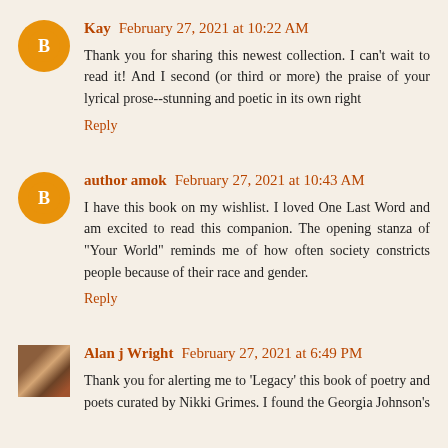Kay February 27, 2021 at 10:22 AM
Thank you for sharing this newest collection. I can't wait to read it! And I second (or third or more) the praise of your lyrical prose--stunning and poetic in its own right
Reply
author amok February 27, 2021 at 10:43 AM
I have this book on my wishlist. I loved One Last Word and am excited to read this companion. The opening stanza of "Your World" reminds me of how often society constricts people because of their race and gender.
Reply
Alan j Wright February 27, 2021 at 6:49 PM
Thank you for alerting me to 'Legacy' this book of poetry and poets curated by Nikki Grimes. I found the Georgia Johnson's